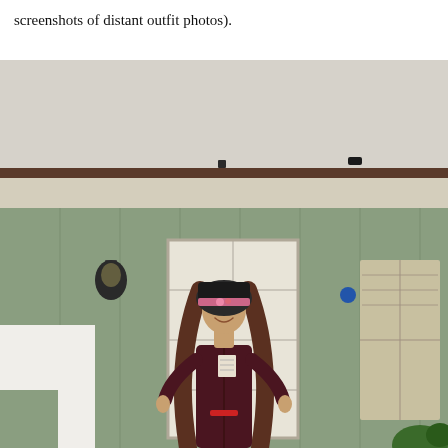screenshots of distant outfit photos).
[Figure (photo): A young woman with long wavy brown hair wearing a dark burgundy/maroon coat and a black fur hat with a pink decorative band, standing and smiling in front of a sage green house with a white door. There is a black wall lamp on the left side of the house and a small circular blue sign near the door on the right.]